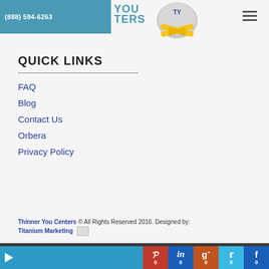(888) 594-6263 | YOU TERS [logo]
QUICK LINKS
FAQ
Blog
Contact Us
Orbera
Privacy Policy
Thinner You Centers © All Rights Reserved 2016. Designed by: Titanium Marketing
Social share bar: Pinterest 0, LinkedIn 0, Google+ 0, Twitter 0, Facebook 0